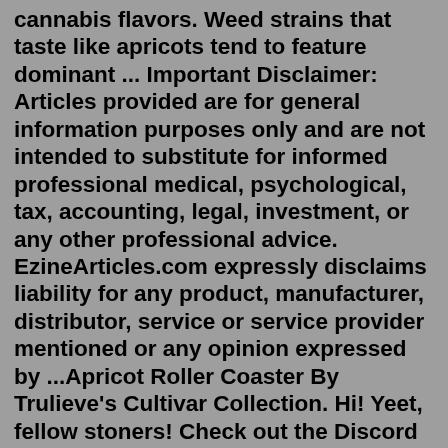cannabis flavors. Weed strains that taste like apricots tend to feature dominant ... Important Disclaimer: Articles provided are for general information purposes only and are not intended to substitute for informed professional medical, psychological, tax, accounting, legal, investment, or any other professional advice. EzineArticles.com expressly disclaims liability for any product, manufacturer, distributor, service or service provider mentioned or any opinion expressed by ...Apricot Roller Coaster By Trulieve's Cultivar Collection. Hi! Yeet, fellow stoners! Check out the Discord for Seed Swaps, Clone Swaps, gaming together, and being generally hip and cool. As always, no cap on your poggers: https://discord.gg/8NNBzdD. I am a bot, and this action was performed automatically.We are always happy when Trulieve dispensary has 9LB Hammer strain, in smokable flower form in stock. This time it was the Vero Beach location that had 9LB and several other strains available for pickup or, delivery. We chose to pick up the same day and were able to buy...